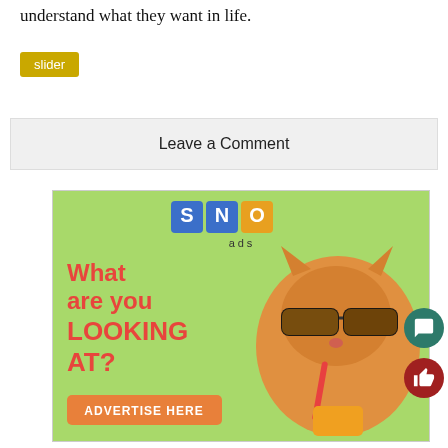understand what they want in life.
slider
Leave a Comment
[Figure (illustration): SNO ads advertisement featuring a cat wearing sunglasses drinking from a straw, with text 'What are you LOOKING AT?' and 'ADVERTISE HERE' button on a green background]